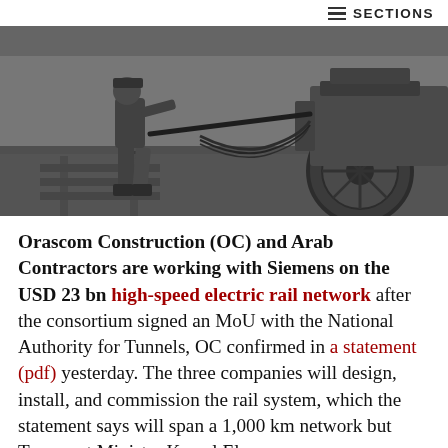≡ SECTIONS
[Figure (photo): Black and white photograph of a railway worker handling rail equipment next to a large train wheel on a track.]
Orascom Construction (OC) and Arab Contractors are working with Siemens on the USD 23 bn high-speed electric rail network after the consortium signed an MoU with the National Authority for Tunnels, OC confirmed in a statement (pdf) yesterday. The three companies will design, install, and commission the rail system, which the statement says will span a 1,000 km network but Transport Minister Kamel El